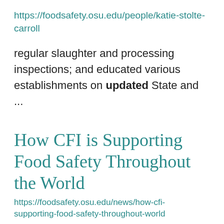https://foodsafety.osu.edu/people/katie-stolte-carroll
regular slaughter and processing inspections; and educated various establishments on updated State and ...
How CFI is Supporting Food Safety Throughout the World
https://foodsafety.osu.edu/news/how-cfi-supporting-food-safety-throughout-world
and conducts research that increases our knowledge about foodborne disease and/or leads to ... foodborne disease and protect public health.   Our international research currently focuses on Salmonella,